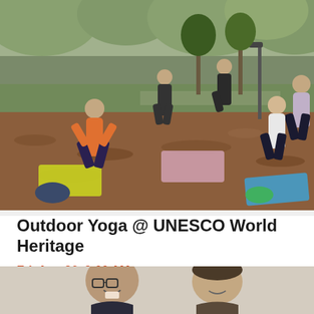[Figure (photo): Outdoor yoga class in a park with several women doing lunge poses on yoga mats spread on a ground covered with dried leaves. Trees and green grass visible in the background.]
Outdoor Yoga @ UNESCO World Heritage
Fri, Aug 26, 9:00 AM
Botanic Gardens MRT Station • Singapore
$21.27
[Figure (photo): Partial photo at bottom showing two people, one wearing glasses, appearing to smile or laugh.]